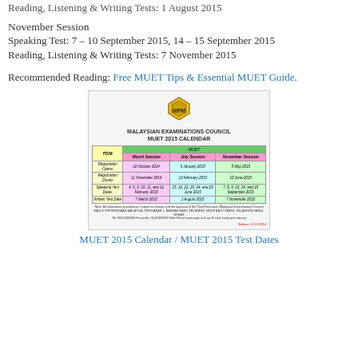Reading, Listening & Writing Tests: 1 August 2015
November Session
Speaking Test: 7 – 10 September 2015, 14 – 15 September 2015
Reading, Listening & Writing Tests: 7 November 2015
Recommended Reading: Free MUET Tips & Essential MUET Guide.
[Figure (table-as-image): Malaysian Examinations Council MUET 2015 Calendar table showing registration open/close dates and test dates for March, July, and November sessions]
MUET 2015 Calendar / MUET 2015 Test Dates